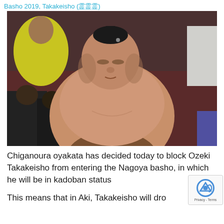Basho 2019, Takakeisho (霊霊霊)
[Figure (photo): Sumo wrestler Takakeisho standing shirtless on the dohyo, with crowd visible in the background. Wrestler is a large, heavyset man with hair in a topknot, eyes closed, wearing a ceremonial mawashi.]
Chiganoura oyakata has decided today to block Ozeki Takakeisho from entering the Nagoya basho, in which he will be in kadoban status.
This means that in Aki, Takakeisho will dro...